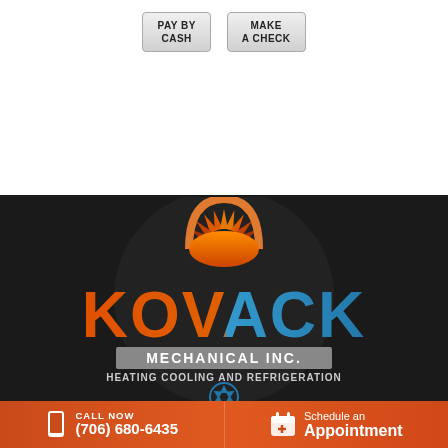[Figure (other): Two UI buttons: PAY BY CASH and MAKE A CHECK]
[Figure (logo): Kovack Mechanical Inc. logo - HEATING COOLING AND REFRIGERATION - orange and blue text on dark background with circular emblem]
Contact Us
[Figure (other): Chat with Us button (orange rounded button)]
Kovack Mechanical Inc.
[Figure (other): Bottom bar with CALL NOW (706) 680-6435 on left and Schedule an Appointment on right, orange background]